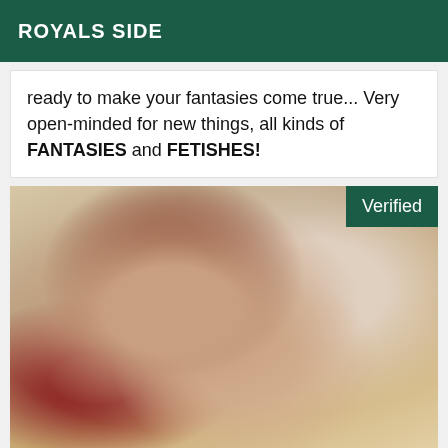ROYALS SIDE
ready to make your fantasies come true... Very open-minded for new things, all kinds of FANTASIES and FETISHES!
[Figure (photo): Photo of a woman with red hair, wearing a pearl necklace and dark straps, sticking out her tongue, with a purple circular object visible in the background. A 'Verified' badge appears in the top-right corner of the image.]